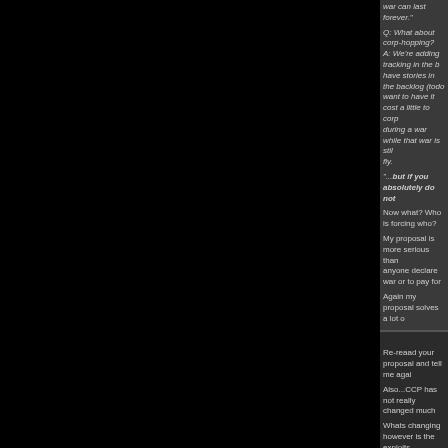war can last forever."

Q: What about corp-hopping?
A: We're adding tracking in the b... have stories in the backlog (todo... want to have it cost a little to corp... during a war while that war is stil... fly.

"...but if you absolutely do not

Now what? Who is forcing who?

My proposal is more serious than... anyone declare war or to pay for...

Again my proposal solves a lot o...
Re-reaad your proposal and tell me agai...

Also...CCP has not really changed muc...

Whats changing however is the exploits...

So please...with all due respect...get off y...
================
Get PAID FOR SPAM!
https://forums.eveonline.com/default.asp...
Posted - 2012.04.13 20:15:00 - [11] - Qu...

lets add this to the "flux system security...